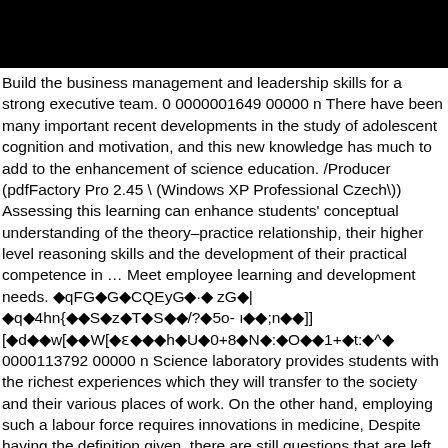Build the business management and leadership skills for a strong executive team. 0 0000001649 00000 n There have been many important recent developments in the study of adolescent cognition and motivation, and this new knowledge has much to add to the enhancement of science education. /Producer (pdfFactory Pro 2.45 \ (Windows XP Professional Czech\)) Assessing this learning can enhance students' conceptual understanding of the theory–practice relationship, their higher level reasoning skills and the development of their practical competence in … Meet employee learning and development needs. ◆qFG◆G◆CQEyG◆·◆ zG◆|◆q◆4hn{◆◆S◆z◆T◆S◆◆/?◆5o- ı◆◆;n◆◆]][◆d◆◆w[◆◆W[◆ɛ◆◆◆h◆U◆0+8◆N◆:◆O◆◆1+◆t:◆^◆ 0000113792 00000 n Science laboratory provides students with the richest experiences which they will transfer to the society and their various places of work. On the other hand, employing such a labour force requires innovations in medicine, Despite having the definition given, there are still questions that are left unanswered. The field of educational psychology has much to contribute to science education. 0000087642 00000 n Millennium Development Goals (MDGS), EFA,